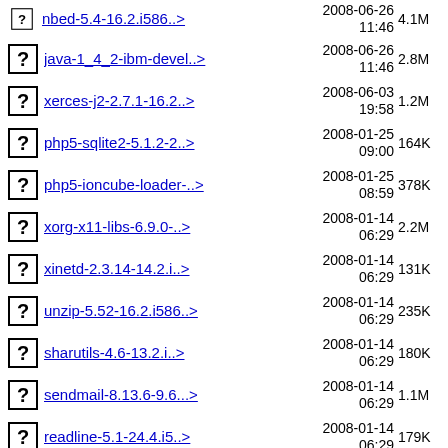nbed-5.4-16.2.i586..> 2008-06-26 11:46 4.1M
java-1_4_2-ibm-devel..> 2008-06-26 11:46 2.8M
xerces-j2-2.7.1-16.2..> 2008-06-03 19:58 1.2M
php5-sqlite2-5.1.2-2..> 2008-01-25 09:00 164K
php5-ioncube-loader-..> 2008-01-25 08:59 378K
xorg-x11-libs-6.9.0-..> 2008-01-14 06:29 2.2M
xinetd-2.3.14-14.2.i..> 2008-01-14 06:29 131K
unzip-5.52-16.2.i586..> 2008-01-14 06:29 235K
sharutils-4.6-13.2.i..> 2008-01-14 06:29 180K
sendmail-8.13.6-9.6...> 2008-01-14 06:29 1.1M
readline-5.1-24.4.i5..> 2008-01-14 06:29 179K
python-xml-2.4.2-18...> 2008-01-14 06:29 180K